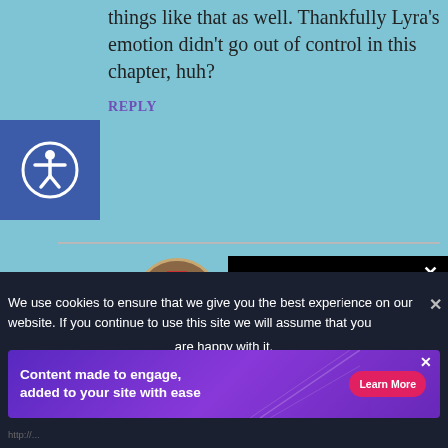things like that as well. Thankfully Lyra's emotion didn't go out of control in this chapter, huh?
REPLY
LynneSuzuran
January 12, 2020 at 10:48 pm
Thanks for reading an...
REPLY
We use cookies to ensure that we give you the best experience on our website. If you continue to use this site we will assume that you are happy with it.
Content made to engage, added to your site with ease
Learn More